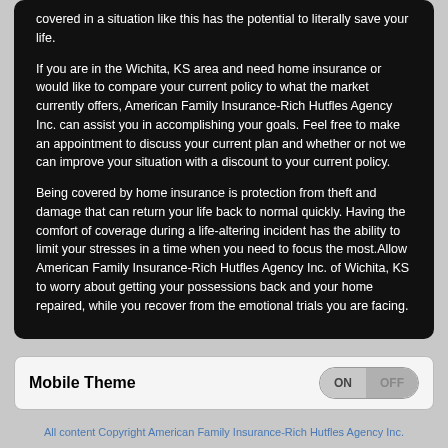covered in a situation like this has the potential to literally save your life.
If you are in the Wichita, KS area and need home insurance or would like to compare your current policy to what the market currently offers, American Family Insurance-Rich Hutfles Agency Inc. can assist you in accomplishing your goals. Feel free to make an appointment to discuss your current plan and whether or not we can improve your situation with a discount to your current policy.
Being covered by home insurance is protection from theft and damage that can return your life back to normal quickly. Having the comfort of coverage during a life-altering incident has the ability to limit your stresses in a time when you need to focus the most.Allow American Family Insurance-Rich Hutfles Agency Inc. of Wichita, KS to worry about getting your possessions back and your home repaired, while you recover from the emotional trials you are facing.
Mobile Theme
All content Copyright American Family Insurance-Rich Hutfles Agency Inc.